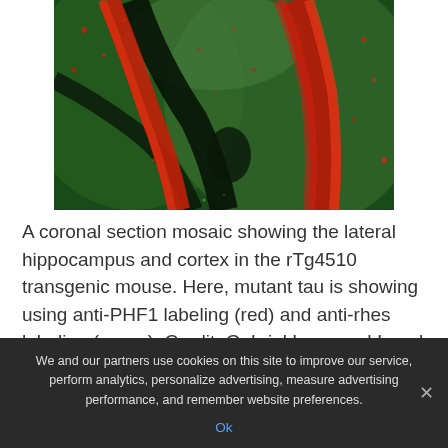[Figure (photo): Fluorescence microscopy image of a coronal section mosaic showing the lateral hippocampus and cortex in the rTg4510 transgenic mouse. Red fluorescent labeling (anti-PHF1) highlights curved stripe patterns against a green fluorescent background (anti-rhes labeling). Dark regions show tissue structure boundaries.]
A coronal section mosaic showing the lateral hippocampus and cortex in the rTg4510 transgenic mouse. Here, mutant tau is showing using anti-PHF1 labeling (red) and anti-rhes labeling (green). Credit: Gabriel Luna and Israel Hernandez, Kosik Lab.
We and our partners use cookies on this site to improve our service, perform analytics, personalize advertising, measure advertising performance, and remember website preferences.